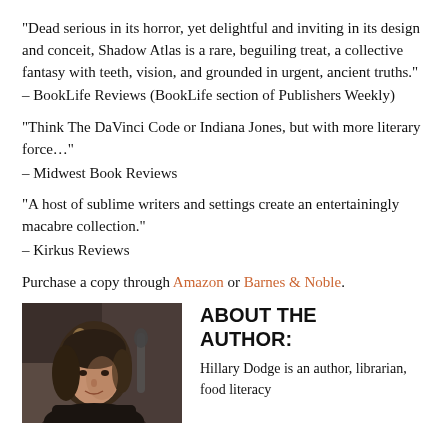“Dead serious in its horror, yet delightful and inviting in its design and conceit, Shadow Atlas is a rare, beguiling treat, a collective fantasy with teeth, vision, and grounded in urgent, ancient truths.”
– BookLife Reviews (BookLife section of Publishers Weekly)
“Think The DaVinci Code or Indiana Jones, but with more literary force…”
– Midwest Book Reviews
“A host of sublime writers and settings create an entertainingly macabre collection.”
– Kirkus Reviews
Purchase a copy through Amazon or Barnes & Noble.
[Figure (photo): Author headshot photo of Hillary Dodge, a woman with highlighted hair]
ABOUT THE AUTHOR:
Hillary Dodge is an author, librarian, food literacy